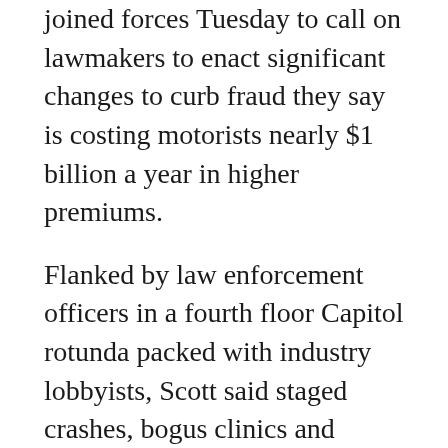joined forces Tuesday to call on lawmakers to enact significant changes to curb fraud they say is costing motorists nearly $1 billion a year in higher premiums.
Flanked by law enforcement officers in a fourth floor Capitol rotunda packed with industry lobbyists, Scott said staged crashes, bogus clinics and unnecessary medical procedures are raising the cost of personal injury protection insurance to the point where many motorists are choosing to illegally go without the mandatory coverage, the News Service of Florida reported.
"It's a $900 million tax on consumers," Scott told reporters and lobbyists representing physicians, hospitals, plaintiff's attorneys, providers and insurers on the fourth floor of the